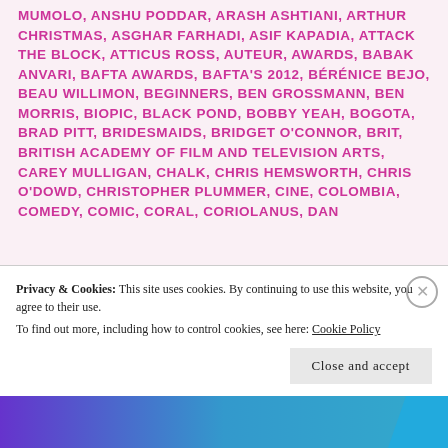MUMOLO, ANSHU PODDAR, ARASH ASHTIANI, ARTHUR CHRISTMAS, ASGHAR FARHADI, ASIF KAPADIA, ATTACK THE BLOCK, ATTICUS ROSS, AUTEUR, AWARDS, BABAK ANVARI, BAFTA AWARDS, BAFTA'S 2012, BÉRÉNICE BEJO, BEAU WILLIMON, BEGINNERS, BEN GROSSMANN, BEN MORRIS, BIOPIC, BLACK POND, BOBBY YEAH, BOGOTA, BRAD PITT, BRIDESMAIDS, BRIDGET O'CONNOR, BRIT, BRITISH ACADEMY OF FILM AND TELEVISION ARTS, CAREY MULLIGAN, CHALK, CHRIS HEMSWORTH, CHRIS O'DOWD, CHRISTOPHER PLUMMER, CINE, COLOMBIA, COMEDY, COMIC, CORAL, CORIOLANUS, DAN
Privacy & Cookies: This site uses cookies. By continuing to use this website, you agree to their use. To find out more, including how to control cookies, see here: Cookie Policy
Close and accept